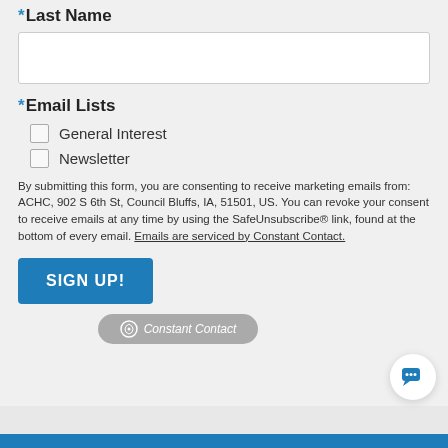* Last Name
* Email Lists
General Interest
Newsletter
By submitting this form, you are consenting to receive marketing emails from: ACHC, 902 S 6th St, Council Bluffs, IA, 51501, US. You can revoke your consent to receive emails at any time by using the SafeUnsubscribe® link, found at the bottom of every email. Emails are serviced by Constant Contact.
SIGN UP!
[Figure (logo): Constant Contact logo badge in gray rounded rectangle]